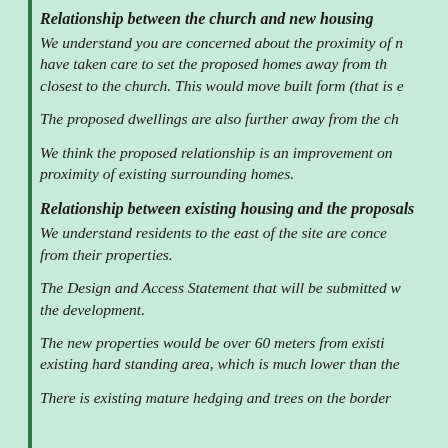Relationship between the church and new housing
We understand you are concerned about the proximity of new homes to the church. We have taken care to set the proposed homes away from the part of the site closest to the church. This would move built form (that is e...
The proposed dwellings are also further away from the ch...
We think the proposed relationship is an improvement on... proximity of existing surrounding homes.
Relationship between existing housing and the proposals
We understand residents to the east of the site are conce... from their properties.
The Design and Access Statement that will be submitted w... the development.
The new properties would be over 60 meters from existi... existing hard standing area, which is much lower than the...
There is existing mature hedging and trees on the border...